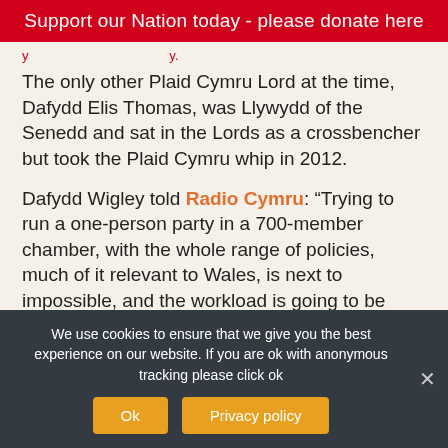Support our Nation today - please donate here
The only other Plaid Cymru Lord at the time, Dafydd Elis Thomas, was Llywydd of the Senedd and sat in the Lords as a crossbencher but took the Plaid Cymru whip in 2012.
Dafydd Wigley told Radio Cymru: “Trying to run a one-person party in a 700-member chamber, with the whole range of policies, much of it relevant to Wales, is next to impossible, and the workload is going to be significant.
We use cookies to ensure that we give you the best experience on our website. If you are ok with anonymous tracking please click ok